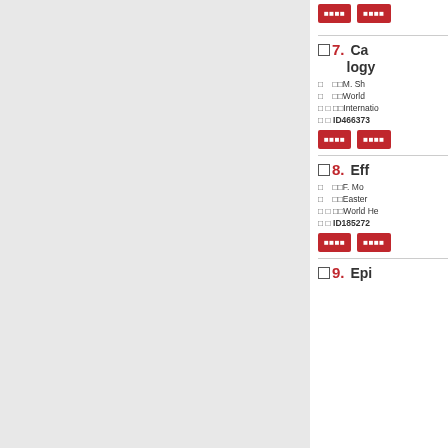□ 7. Cardiology
□ 8. Eff...
□ 9. Epi...